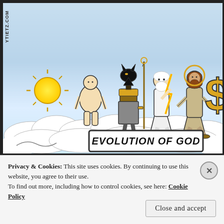[Figure (illustration): A cartoon illustration titled 'Evolution of God' showing a progression of deity figures walking from left to right on clouds: a sun symbol, a prehistoric Venus figurine, an Egyptian god (Anubis with jackal head), a Greek/Roman god (Zeus with lightning bolt and white beard), a Jesus-like figure in robes with a halo, and a large yellow dollar sign. The watermark 'YTIETZ.COM' appears vertically on the left side.]
EVOLUTION OF GOD
Privacy & Cookies: This site uses cookies. By continuing to use this website, you agree to their use.
To find out more, including how to control cookies, see here: Cookie Policy
Close and accept